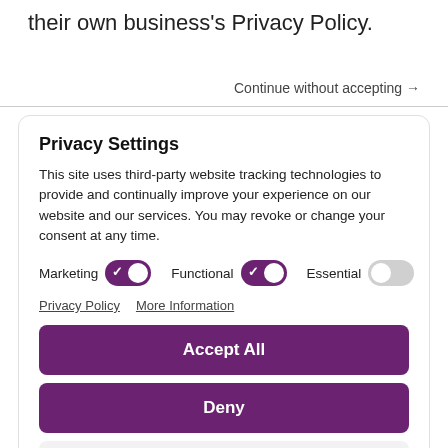their own business's Privacy Policy.
Continue without accepting →
Privacy Settings
This site uses third-party website tracking technologies to provide and continually improve your experience on our website and our services. You may revoke or change your consent at any time.
Marketing [toggle on] Functional [toggle on] Essential [toggle off]
Privacy Policy   More Information
Accept All
Deny
Save Settings
Powered by Usercentrics Consent Management